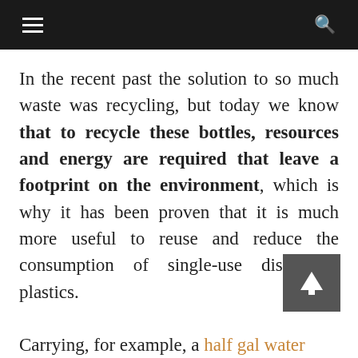≡  🔍
In the recent past the solution to so much waste was recycling, but today we know that to recycle these bottles, resources and energy are required that leave a footprint on the environment, which is why it has been proven that it is much more useful to reuse and reduce the consumption of single-use disposable plastics.
Carrying, for example, a half gal water